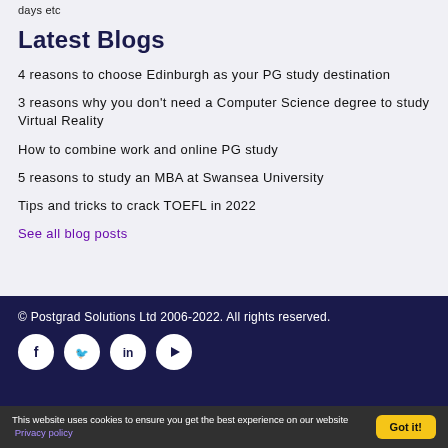days etc
Latest Blogs
4 reasons to choose Edinburgh as your PG study destination
3 reasons why you don't need a Computer Science degree to study Virtual Reality
How to combine work and online PG study
5 reasons to study an MBA at Swansea University
Tips and tricks to crack TOEFL in 2022
See all blog posts
© Postgrad Solutions Ltd 2006-2022. All rights reserved.
This website uses cookies to ensure you get the best experience on our website Privacy policy Got it!